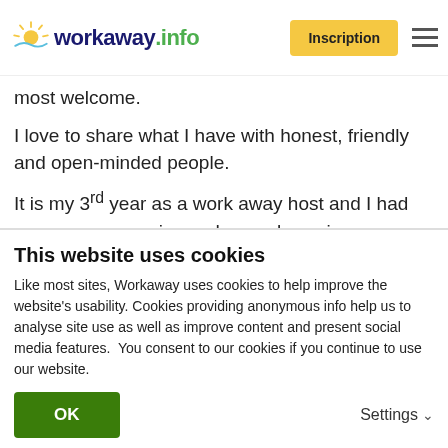workaway.info | Inscription
most welcome.
I love to share what I have with honest, friendly and open-minded people.
It is my 3rd year as a work away host and I had some very very nice and some less nice experiences … so I would like people who can adapt to my Belgian lifestyle and if there is a big disagreement then eventually to be flexible to leave and find another host !
I have travelled myself a lot, so I can understand your needs !
This website uses cookies
Like most sites, Workaway uses cookies to help improve the website's usability. Cookies providing anonymous info help us to analyse site use as well as improve content and present social media features.  You consent to our cookies if you continue to use our website.
OK
Settings